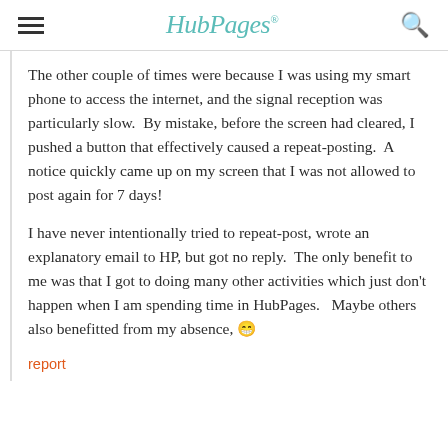HubPages
The other couple of times were because I was using my smart phone to access the internet, and the signal reception was particularly slow.  By mistake, before the screen had cleared, I pushed a button that effectively caused a repeat-posting.  A notice quickly came up on my screen that I was not allowed to post again for 7 days!
I have never intentionally tried to repeat-post, wrote an explanatory email to HP, but got no reply.  The only benefit to me was that I got to doing many other activities which just don't happen when I am spending time in HubPages.   Maybe others also benefitted from my absence, 😁
report